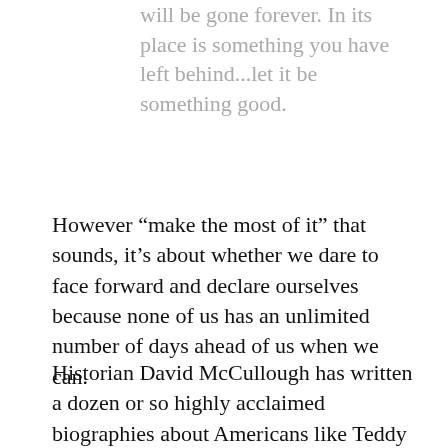will be gone forever. In its place is something you have left behind...let it be something good.
However “make the most of it” that sounds, it’s about whether we dare to face forward and declare ourselves because none of us has an unlimited number of days ahead of us when we can.
Historian David McCullough has written a dozen or so highly acclaimed biographies about Americans like Teddy Roosevelt, the Wright Brothers and John Adams. (You may also know him as the sonorous voice behind some of Ken Burn’s public television